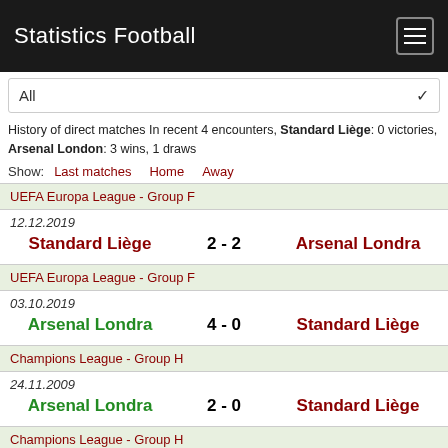Statistics Football
All
History of direct matches In recent 4 encounters, Standard Liège: 0 victories, Arsenal London: 3 wins, 1 draws
Show: Last matches Home Away
UEFA Europa League - Group F
12.12.2019
Standard Liège 2 - 2 Arsenal Londra
UEFA Europa League - Group F
03.10.2019
Arsenal Londra 4 - 0 Standard Liège
Champions League - Group H
24.11.2009
Arsenal Londra 2 - 0 Standard Liège
Champions League - Group H
16.09.2009
Standard Liège 2 - 3 Arsenal Londra